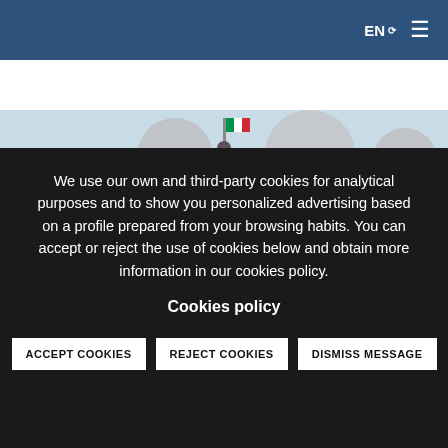EN ≡
[Figure (photo): Partial hero image showing radar/satellite dishes and a flag against a light blue sky]
We use our own and third-party cookies for analytical purposes and to show you personalized advertising based on a profile prepared from your browsing habits. You can accept or reject the use of cookies below and obtain more information in our cookies policy.
Cookies policy
ACCEPT COOKIES   REJECT COOKIES   DISMISS MESSAGE